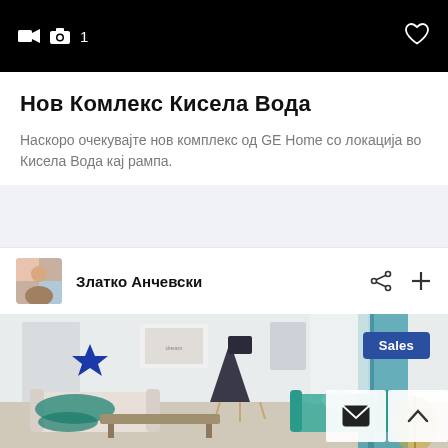[Figure (screenshot): Black top bar with video camera icon, camera icon with count '1', and heart icon on right]
Нов Комлекс Кисела Вода
Наскоро очекувајте нов комплекс од GE Home со локација во Кисела Вода кај рампа.
Златко Анчевски
[Figure (photo): Interior living room with teal/turquoise decor, floor lamp, sofa, curtains, framed wall art, and golden leaf ornament. Sales badge overlay.]